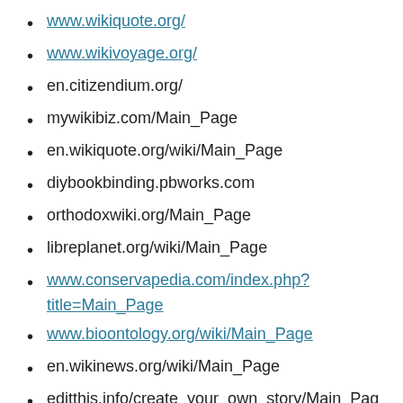www.wikiquote.org/
www.wikivoyage.org/
en.citizendium.org/
mywikibiz.com/Main_Page
en.wikiquote.org/wiki/Main_Page
diybookbinding.pbworks.com
orthodoxwiki.org/Main_Page
libreplanet.org/wiki/Main_Page
www.conservapedia.com/index.php?title=Main_Page
www.bioontology.org/wiki/Main_Page
en.wikinews.org/wiki/Main_Page
editthis.info/create_your_own_story/Main_Page